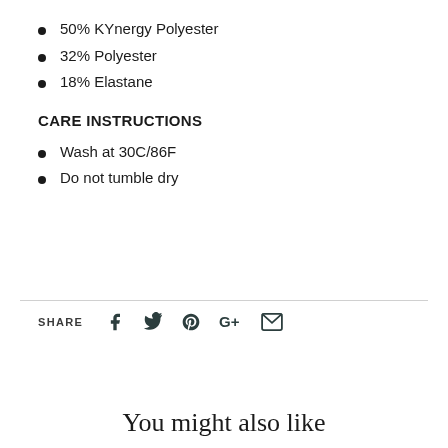50% KYnergy Polyester
32% Polyester
18% Elastane
CARE INSTRUCTIONS
Wash at 30C/86F
Do not tumble dry
SHARE [icons: Facebook, Twitter, Pinterest, Google+, Email]
You might also like